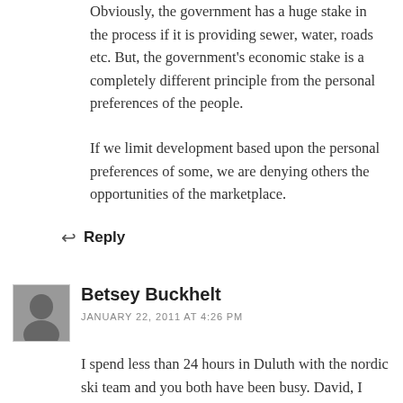Obviously, the government has a huge stake in the process if it is providing sewer, water, roads etc. But, the government's economic stake is a completely different principle from the personal preferences of the people.
If we limit development based upon the personal preferences of some, we are denying others the opportunities of the marketplace.
↩ Reply
Betsey Buckhelt
JANUARY 22, 2011 AT 4:26 PM
I spend less than 24 hours in Duluth with the nordic ski team and you both have been busy. David, I disagree that the Comp Plan is about